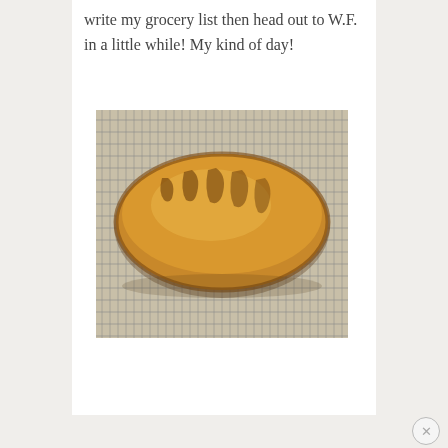write my grocery list then head out to W.F. in a little while! My kind of day!
[Figure (photo): A golden-brown oval bread loaf with diagonal score marks sitting on a metal wire cooling rack, viewed from above]